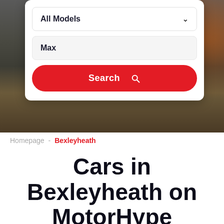[Figure (screenshot): Hero background image showing a dark asphalt/road surface with orange glow in top right corner, partially obscured by a white search card overlay]
All Models ▾
Max
Search 🔍
Homepage - Bexleyheath
Cars in Bexleyheath on MotorHype